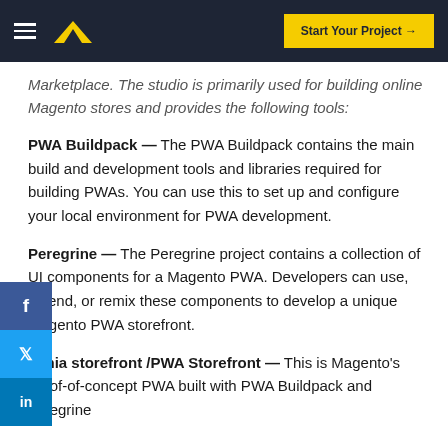Start Your Project →
Marketplace. The studio is primarily used for building online Magento stores and provides the following tools:
PWA Buildpack — The PWA Buildpack contains the main build and development tools and libraries required for building PWAs. You can use this to set up and configure your local environment for PWA development.
Peregrine — The Peregrine project contains a collection of UI components for a Magento PWA. Developers can use, extend, or remix these components to develop a unique Magento PWA storefront.
Venia storefront /PWA Storefront — This is Magento's proof-of-concept PWA built with PWA Buildpack and peregrine